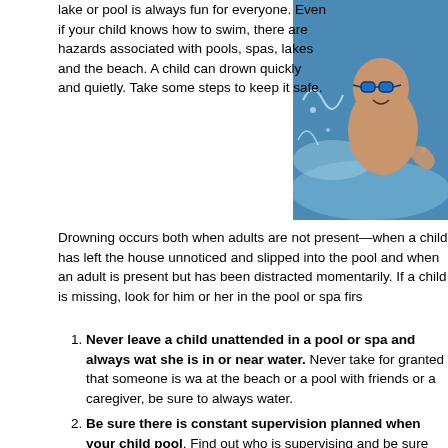lake or pool is always fun for everyone. Even if your child knows how to swim, there are hazards associated with pools, spas, lakes and the beach. A child can drown quickly and quietly. Take some steps to keep it safe.
[Figure (photo): Child with swimming goggles splashing in a pool, appears to be enjoying swimming lessons]
Drowning occurs both when adults are not present—when a child has left the house unnoticed and slipped into the pool and when an adult is present but has been distracted momentarily. If a child is missing, look for him or her in the pool or spa firs
Never leave a child unattended in a pool or spa and always wat she is in or near water. Never take for granted that someone is wa at the beach or a pool with friends or a caregiver, be sure to always water.
Be sure there is constant supervision planned when your child pool. Find out who is supervising and be sure someone will be ther at your own home, visiting a home with a pool or spa, or your child i another family, be sure there is planned supervision at all times. Bew currents don't pull you under the water; they actually carry you out s occur at any beach with waves, even the Great Lakes. You won't b